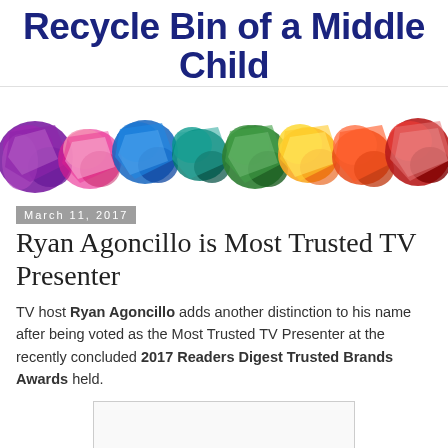Recycle Bin of a Middle Child
[Figure (photo): Rainbow of colorful crumpled paper balls arranged in a row against a white background]
March 11, 2017
Ryan Agoncillo is Most Trusted TV Presenter
TV host Ryan Agoncillo adds another distinction to his name after being voted as the Most Trusted TV Presenter at the recently concluded 2017 Readers Digest Trusted Brands Awards held.
[Figure (other): Advertisement or embedded content box]